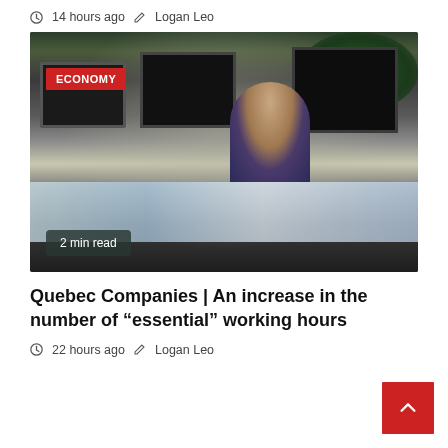14 hours ago  Logan Leo
[Figure (photo): Office workspace with multiple computer monitors, a person sitting at a desk, plants in the background. Red 'ECONOMY' category badge in top left. '2 min read' badge in bottom left.]
Quebec Companies | An increase in the number of “essential” working hours
22 hours ago  Logan Leo